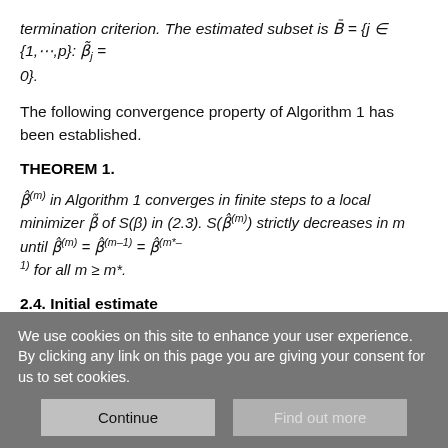termination criterion. The estimated subset is B̄ = {j ∈ {1,⋯,p}: β̃_j = 0}.
The following convergence property of Algorithm 1 has been established.
THEOREM 1.
β̂^(m) in Algorithm 1 converges in finite steps to a local minimizer β̃ of S(β) in (2.3). S(β̂^(m)) strictly decreases in m until β̂^(m) = β̂^(m–1) = β̂^(m*–1) for all m ≥ m*.
2.4. Initial estimate
In general, a large number of good or randomly selected initial
We use cookies on this site to enhance your user experience. By clicking any link on this page you are giving your consent for us to set cookies.